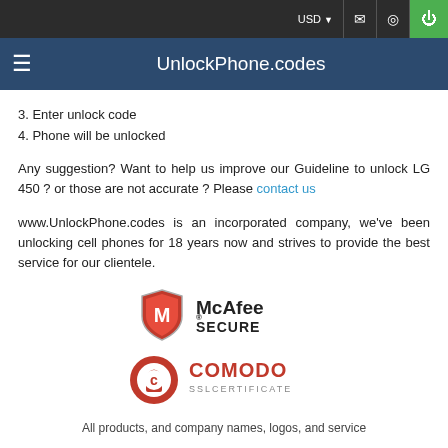USD  [mail] [location] [power]
UnlockPhone.codes
3. Enter unlock code
4. Phone will be unlocked
Any suggestion? Want to help us improve our Guideline to unlock LG 450 ? or those are not accurate ? Please contact us
www.UnlockPhone.codes is an incorporated company, we've been unlocking cell phones for 18 years now and strives to provide the best service for our clientele.
[Figure (logo): McAfee SECURE badge with red shield logo and M emblem]
[Figure (logo): Comodo SSL Certificate badge with red circular lock icon]
All products, and company names, logos, and service